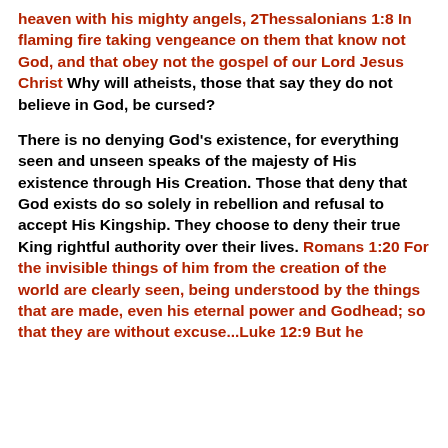heaven with his mighty angels, 2Thessalonians 1:8 In flaming fire taking vengeance on them that know not God, and that obey not the gospel of our Lord Jesus Christ Why will atheists, those that say they do not believe in God, be cursed?
There is no denying God's existence, for everything seen and unseen speaks of the majesty of His existence through His Creation. Those that deny that God exists do so solely in rebellion and refusal to accept His Kingship. They choose to deny their true King rightful authority over their lives. Romans 1:20 For the invisible things of him from the creation of the world are clearly seen, being understood by the things that are made, even his eternal power and Godhead; so that they are without excuse...Luke 12:9 But he